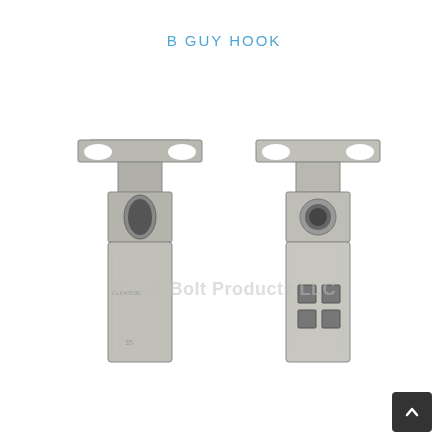B GUY HOOK
[Figure (photo): Two metal B Guy Hook hardware pieces shown side by side. Both are zinc/galvanized cast metal components with a T-shaped top hook profile and a lower rectangular plate. The left piece shows the front face with an elongated oval hole and stamped text. The right piece shows the back face with a round hole and four square slots in the lower plate. A watermark reading 'Allied Bolt Products LLC' is overlaid across the image.]